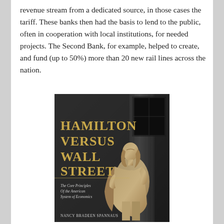revenue stream from a dedicated source, in those cases the tariff. These banks then had the basis to lend to the public, often in cooperation with local institutions, for needed projects. The Second Bank, for example, helped to create, and fund (up to 50%) more than 20 new rail lines across the nation.
[Figure (photo): Book cover of 'Hamilton Versus Wall Street: The Core Principles Of the American System of Economics' by Nancy Bradeen Spannaus. Features a bronze statue of Alexander Hamilton against a stone building facade, in sepia/black-and-white tones. Title in large gold serif font on the left side.]